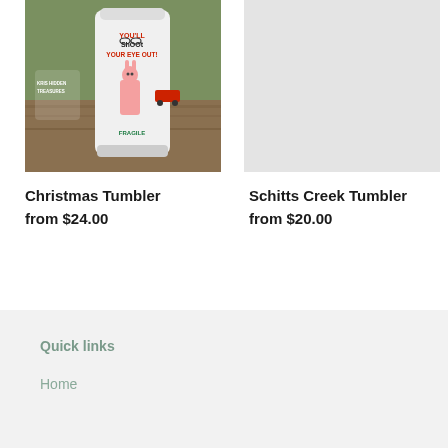[Figure (photo): Christmas Tumbler product photo showing a white tumbler with holiday-themed graphics including 'You'll shoot your eye out!' text and a character in a pink bunny suit, displayed outdoors on a wooden surface]
Christmas Tumbler
from $24.00
[Figure (photo): Schitts Creek Tumbler product photo - light gray placeholder/loading image]
Schitts Creek Tumbler
from $20.00
Quick links
Home